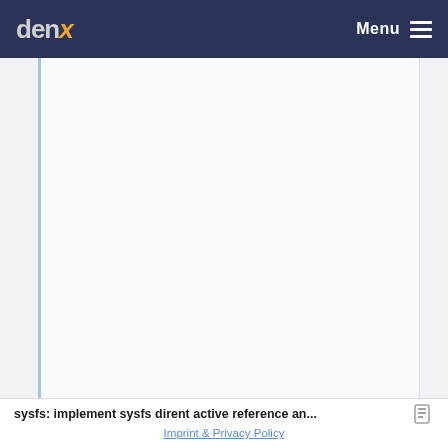denx  Menu
[Figure (screenshot): Large blank/empty content area with a light blue left border stripe and a right sidebar strip, representing a webpage content region]
sysfs: implement sysfs dirent active reference an...
Imprint & Privacy Policy